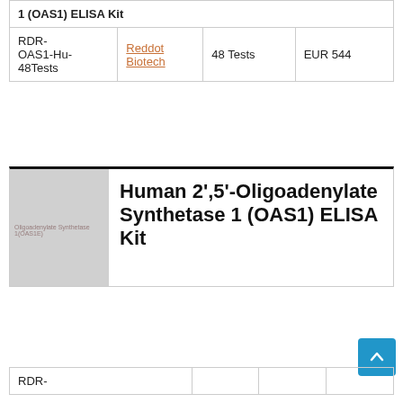| Product ID | Brand | Size | Price |
| --- | --- | --- | --- |
| (OAS1) ELISA Kit |  |  |  |
| RDR-OAS1-Hu-48Tests | Reddot Biotech | 48 Tests | EUR 544 |
[Figure (photo): Product image placeholder with watermark text 'Oligoadenylate Synthetase 1 (OAS1E)']
Human 2',5'-Oligoadenylate Synthetase 1 (OAS1) ELISA Kit
| Product ID | Brand | Size | Price |
| --- | --- | --- | --- |
| RDR- |  |  |  |